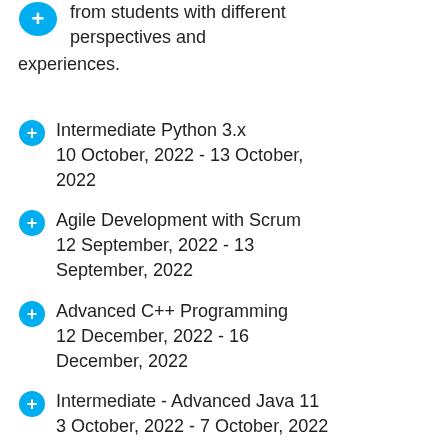from students with different perspectives and experiences.
Intermediate Python 3.x
10 October, 2022 - 13 October, 2022
Agile Development with Scrum
12 September, 2022 - 13 September, 2022
Advanced C++ Programming
12 December, 2022 - 16 December, 2022
Intermediate - Advanced Java 11
3 October, 2022 - 7 October, 2022
AZ-400: DESIGNING AND IMPLEMENTING MICROSOFT DEVOPS SOLUTIONS
26 September, 2022 - 30 September, 2022